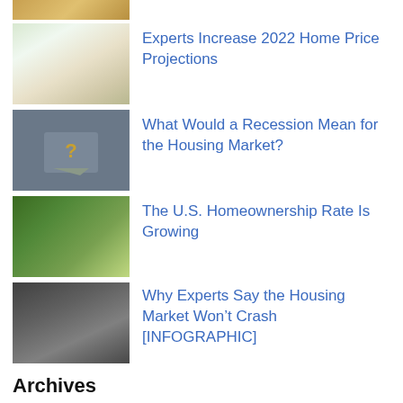[Figure (photo): Partial view of a house image at top of page]
Experts Increase 2022 Home Price Projections
[Figure (photo): Small white house with green door and outdoor furniture]
What Would a Recession Mean for the Housing Market?
[Figure (photo): Dark background with a wooden house shape with a question mark]
The U.S. Homeownership Rate Is Growing
[Figure (photo): Father holding child in front of a house with green lawn]
Why Experts Say the Housing Market Won’t Crash [INFOGRAPHIC]
[Figure (photo): Black and white image of a large suburban house]
Archives
August 2022
July 2022
June 2022
May 2022